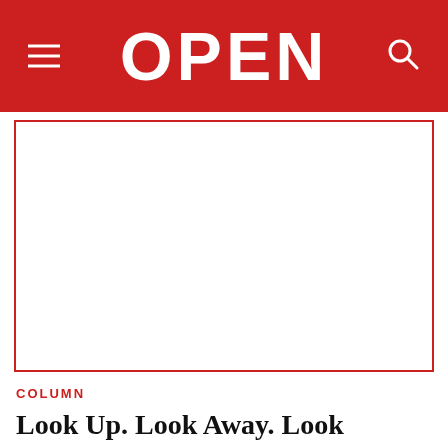OPEN
[Figure (photo): White/blank image placeholder with red border]
COLUMN
Look Up. Look Away. Look Within.